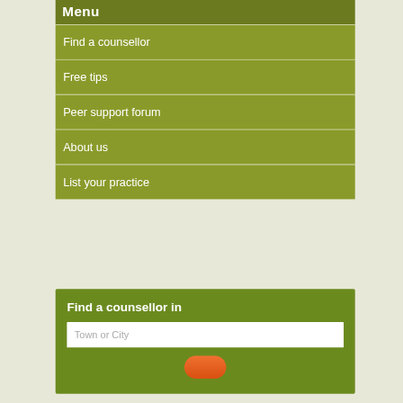Menu
Find a counsellor
Free tips
Peer support forum
About us
List your practice
Find a counsellor in
Town or City